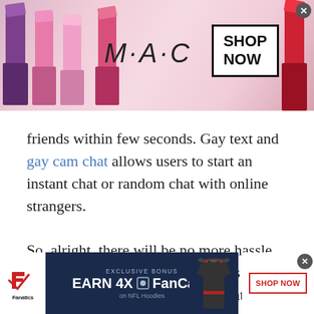[Figure (other): MAC Cosmetics advertisement banner showing colorful lipsticks and 'SHOP NOW' button]
friends within few seconds. Gay text and gay cam chat allows users to start an instant chat or random chat with online strangers.

So, alright, there will be no more hassle for guy users. Free gay chat rooms or gay cam chat is absolutely the best chat room available that help gays to enlarge their friend's circle. Are you willing to join free gay chat rooms without spending any money? If yes then start random text chat, video chat
[Figure (other): Fanatics advertisement: EXCLUSIVE BONUS EARN 4X FanCash on NFL Hoodies with SHOP NOW button]